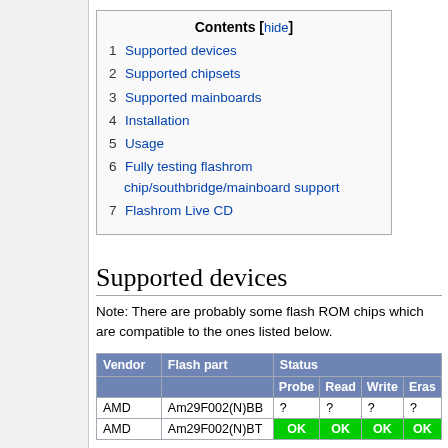| Contents [hide] |
| 1 Supported devices |
| 2 Supported chipsets |
| 3 Supported mainboards |
| 4 Installation |
| 5 Usage |
| 6 Fully testing flashrom chip/southbridge/mainboard support |
| 7 Flashrom Live CD |
Supported devices
Note: There are probably some flash ROM chips which are compatible to the ones listed below.
| Vendor | Flash part | Status |  |  |  |
| --- | --- | --- | --- | --- | --- |
|  |  | Probe | Read | Write | Eras |
| AMD | Am29F002(N)BB | ? | ? | ? | ? |
| AMD | Am29F002(N)BT | OK | OK | OK | OK |